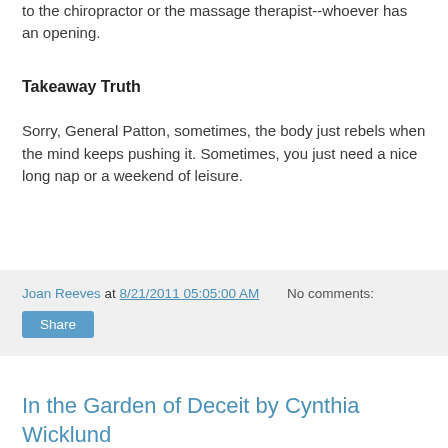to the chiropractor or the massage therapist--whoever has an opening.
Takeaway Truth
Sorry, General Patton, sometimes, the body just rebels when the mind keeps pushing it. Sometimes, you just need a nice long nap or a weekend of leisure.
Joan Reeves at 8/21/2011 05:05:00 AM   No comments:
Share
In the Garden of Deceit by Cynthia Wicklund